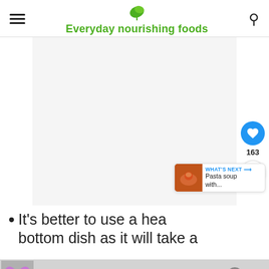Everyday nourishing foods
[Figure (other): Large white/blank image area placeholder below site header]
It's better to use a heavy bottom dish as it will take a
[Figure (infographic): What's Next widget showing a bowl of pasta soup thumbnail with label 'WHAT'S NEXT → Pasta soup with...']
[Figure (infographic): Ad bar at bottom with rainbow graphic, text #ViralKindness, close button]